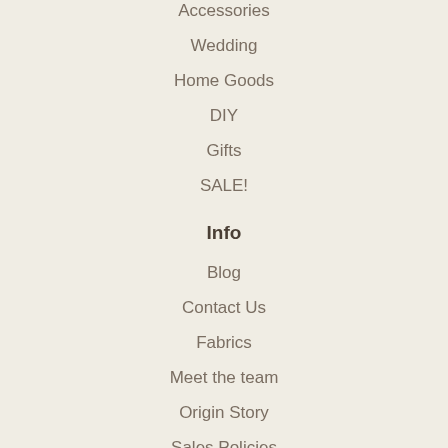Accessories
Wedding
Home Goods
DIY
Gifts
SALE!
Info
Blog
Contact Us
Fabrics
Meet the team
Origin Story
Sales Policies
Size Help
Newsletter